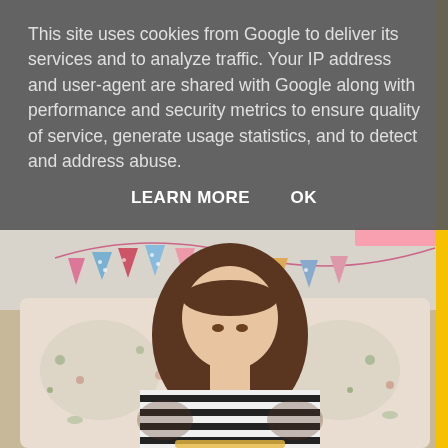[Figure (photo): A young woman with long brown hair wearing a black and white striped shirt sits on a floral-patterned sofa, looking down at something in her lap. Behind her on the wall is colorful bunting/pennant garland in pink, blue, and polka dot patterns. A yellow vertical bar is visible on the right edge.]
This site uses cookies from Google to deliver its services and to analyze traffic. Your IP address and user-agent are shared with Google along with performance and security metrics to ensure quality of service, generate usage statistics, and to detect and address abuse.
LEARN MORE    OK